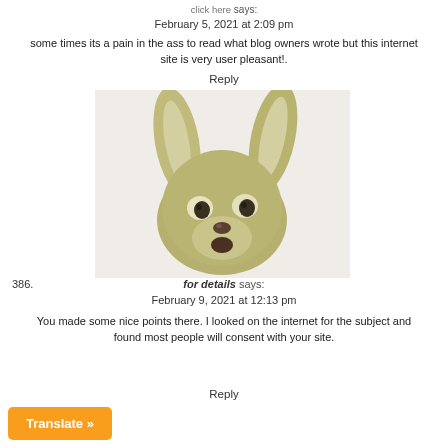click here says:
February 5, 2021 at 2:09 pm
some times its a pain in the ass to read what blog owners wrote but this internet site is very user pleasant!.
Reply
[Figure (photo): A stuffed or toy animal figure resembling a small deer or rabbit with large ears, cartoon-like eyes, and an open mouth, with a greenish-tan color.]
386.
for details says:
February 9, 2021 at 12:13 pm
You made some nice points there. I looked on the internet for the subject and found most people will consent with your site.
Reply
Translate »